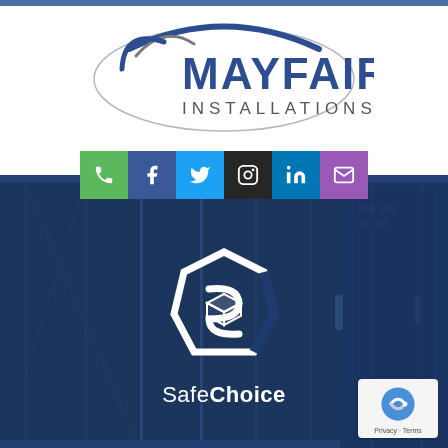[Figure (logo): Mayfair Installations company logo with blue oval arc and text]
[Figure (infographic): Social media icon bar with phone (green), Facebook (blue), Twitter (light blue), Instagram (dark), LinkedIn (blue), email (purple) buttons]
[Figure (photo): Background photo of blue-tinted bifold/accordion glass doors and entrance doors installation]
[Figure (logo): SafeChoice logo - hexagonal C icon in white with layered S shape inside, with text SafeChoice below]
[Figure (other): reCAPTCHA badge widget - Privacy and Terms text]